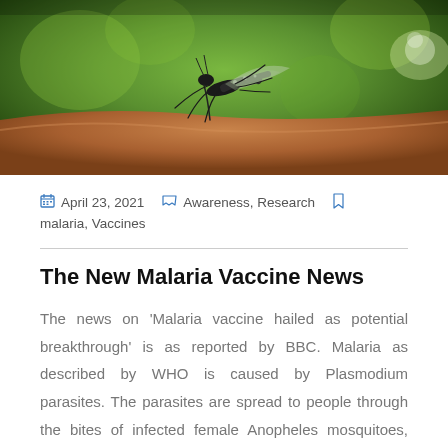[Figure (photo): Close-up macro photograph of a mosquito feeding on skin, against a green blurred background. The mosquito is shown in detail with visible legs, body segments, and wings.]
April 23, 2021   Awareness, Research   malaria, Vaccines
The New Malaria Vaccine News
The news on 'Malaria vaccine hailed as potential breakthrough' is as reported by BBC. Malaria as described by WHO is caused by Plasmodium parasites. The parasites are spread to people through the bites of infected female Anopheles mosquitoes, called "malaria vectors." There are 5 parasite species that cause the illness in humans, and 2 of these species – P. falciparum and P. vivax – pose the greatest threat